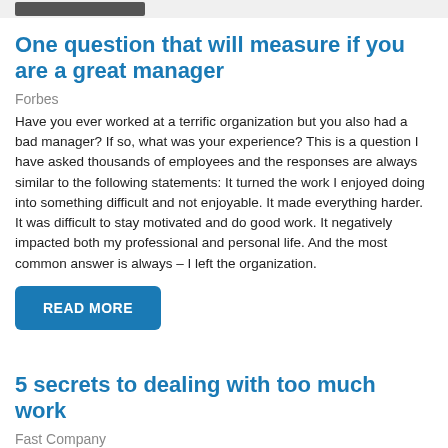One question that will measure if you are a great manager
Forbes
Have you ever worked at a terrific organization but you also had a bad manager? If so, what was your experience? This is a question I have asked thousands of employees and the responses are always similar to the following statements: It turned the work I enjoyed doing into something difficult and not enjoyable. It made everything harder. It was difficult to stay motivated and do good work. It negatively impacted both my professional and personal life. And the most common answer is always – I left the organization.
READ MORE
5 secrets to dealing with too much work
Fast Company
In order to become a Navy SEAL one must pass through what is called "hell week." During this fourth week of basic conditioning, recruits train